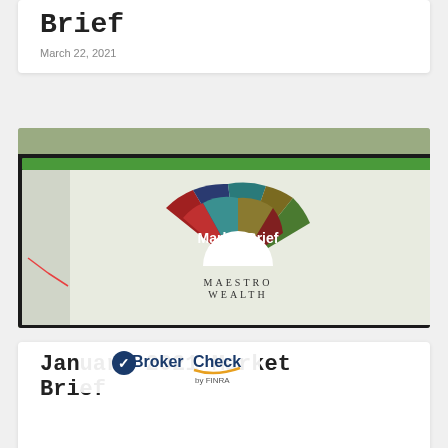Brief
March 22, 2021
[Figure (photo): Screenshot of a video call/trading platform showing Market Brief and Maestro Wealth branding with a colorful fan/wheel logo]
January 2021 Market Brief